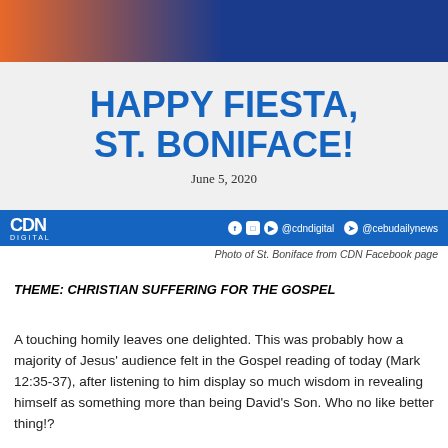[Figure (photo): Banner photo of St. Boniface, orange and dark blue tones]
HAPPY FIESTA, ST. BONIFACE!
June 5, 2020
[Figure (logo): CDN Digital logo bar with social media handles @cdndigital and @cebudailynews]
Photo of St. Boniface from CDN Facebook page
THEME: CHRISTIAN SUFFERING FOR THE GOSPEL
A touching homily leaves one delighted. This was probably how a majority of Jesus' audience felt in the Gospel reading of today (Mark 12:35-37), after listening to him display so much wisdom in revealing himself as something more than being David's Son. Who no like better thing!?